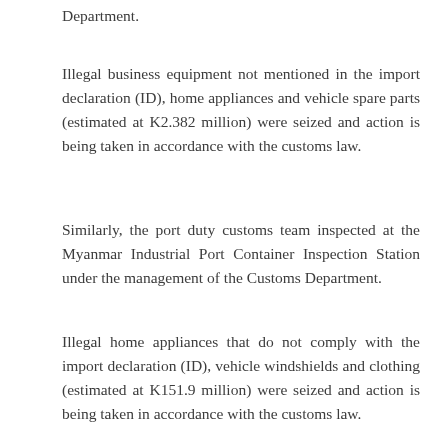Department.
Illegal business equipment not mentioned in the import declaration (ID), home appliances and vehicle spare parts (estimated at K2.382 million) were seized and action is being taken in accordance with the customs law.
Similarly, the port duty customs team inspected at the Myanmar Industrial Port Container Inspection Station under the management of the Customs Department.
Illegal home appliances that do not comply with the import declaration (ID), vehicle windshields and clothing (estimated at K151.9 million) were seized and action is being taken in accordance with the customs law.